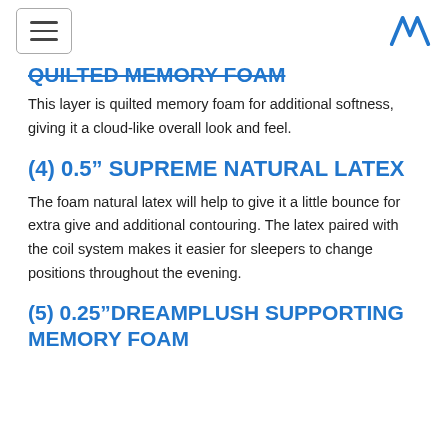[hamburger menu button] [M logo]
QUILTED MEMORY FOAM
This layer is quilted memory foam for additional softness, giving it a cloud-like overall look and feel.
(4) 0.5” SUPREME NATURAL LATEX
The foam natural latex will help to give it a little bounce for extra give and additional contouring. The latex paired with the coil system makes it easier for sleepers to change positions throughout the evening.
(5) 0.25”DREAMPLUSH SUPPORTING MEMORY FOAM